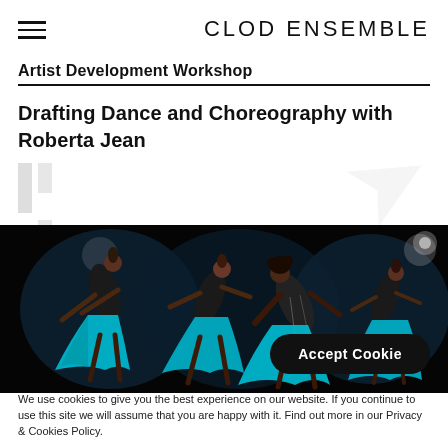CLOD ENSEMBLE
Artist Development Workshop
Drafting Dance and Choreography with Roberta Jean
[Figure (photo): Three dancers on a dark stage wearing black costumes with blue flowing skirts, photographed mid-movement with dramatic lighting]
Accept Cookie
We use cookies to give you the best experience on our website. If you continue to use this site we will assume that you are happy with it. Find out more in our Privacy & Cookies Policy.